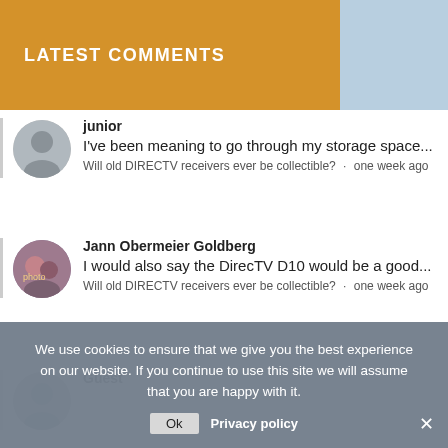LATEST COMMENTS
junior
I've been meaning to go through my storage space...
Will old DIRECTV receivers ever be collectible? · one week ago
Jann Obermeier Goldberg
I would also say the DirecTV D10 would be a good...
Will old DIRECTV receivers ever be collectible? · one week ago
Guest
We use cookies to ensure that we give you the best experience on our website. If you continue to use this site we will assume that you are happy with it.
Ok   Privacy policy